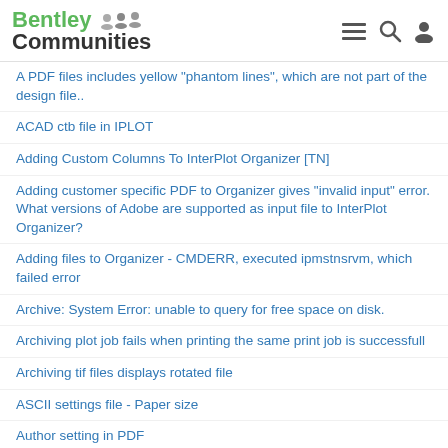Bentley Communities
A PDF files includes yellow "phantom lines", which are not part of the design file..
ACAD ctb file in IPLOT
Adding Custom Columns To InterPlot Organizer [TN]
Adding customer specific PDF to Organizer gives "invalid input" error. What versions of Adobe are supported as input file to InterPlot Organizer?
Adding files to Organizer - CMDERR, executed ipmstnsrvm, which failed error
Archive: System Error: unable to query for free space on disk.
Archiving plot job fails when printing the same print job is successfull
Archiving tif files displays rotated file
ASCII settings file - Paper size
Author setting in PDF
Bring Win32app "at the beginning of the System Variable Path
Can I create PDF output files using the IPLOT command line?
Can I use a UNC path to define the location of the User and Project workspace in IPLOT?